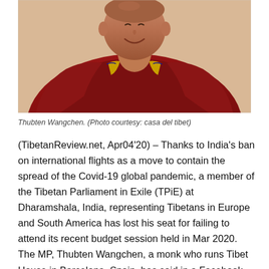[Figure (photo): Photo of Thubten Wangchen, a smiling Tibetan Buddhist monk wearing dark red robes with yellow trim, photographed outdoors.]
Thubten Wangchen. (Photo courtesy: casa del tibet)
(TibetanReview.net, Apr04'20) – Thanks to India's ban on international flights as a move to contain the spread of the Covid-19 global pandemic, a member of the Tibetan Parliament in Exile (TPiE) at Dharamshala, India, representing Tibetans in Europe and South America has lost his seat for failing to attend its recent budget session held in Mar 2020. The MP, Thubten Wangchen, a monk who runs Tibet House in Barcelona, Spain, has said in a Facebook message Apr 2 that he was booked to fly on the day the Indian government's ban on flights from the Covid-19-hotspots in Europe of Italy,